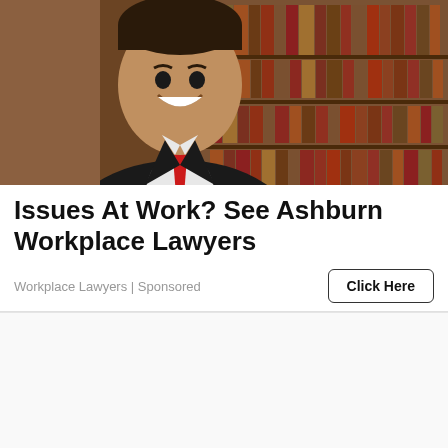[Figure (photo): Professional lawyer in dark suit with red tie, smiling, with bookshelves in background]
Issues At Work? See Ashburn Workplace Lawyers
Workplace Lawyers | Sponsored
Click Here